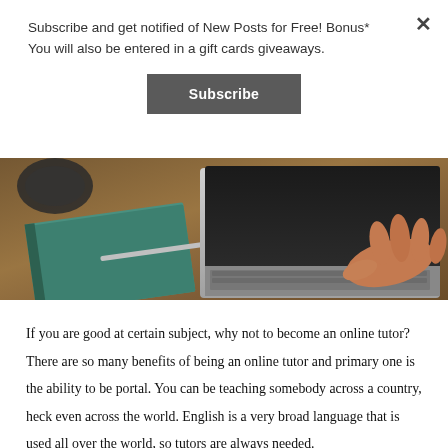Subscribe and get notified of New Posts for Free! Bonus* You will also be entered in a gift cards giveaways.
Subscribe
[Figure (photo): Person typing on a laptop keyboard on a wooden desk with books and a pen nearby, viewed from above at an angle.]
If you are good at certain subject, why not to become an online tutor? There are so many benefits of being an online tutor and primary one is the ability to be portal. You can be teaching somebody across a country, heck even across the world. English is a very broad language that is used all over the world, so tutors are always needed.